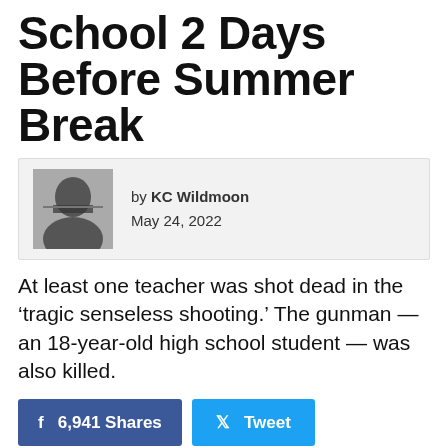School 2 Days Before Summer Break
by KC Wildmoon
May 24, 2022
At least one teacher was shot dead in the ‘tragic senseless shooting.’ The gunman — an 18-year-old high school student — was also killed.
f  6,941 Shares    🐦  Tweet
Update Wednesday morning: Latest reports indicate 19 children were killed in Tuesday’s shootings.
Original: